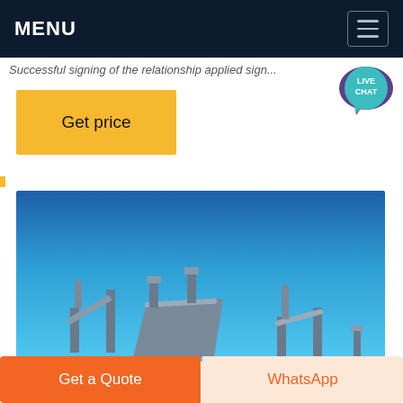MENU
Successful signing of the relationship applied sign...
[Figure (illustration): Live Chat speech bubble icon with purple/teal colors and text LIVE CHAT]
Get price
[Figure (photo): Industrial mining or quarrying equipment with conveyor belts against a bright blue sky]
Get a Quote
WhatsApp